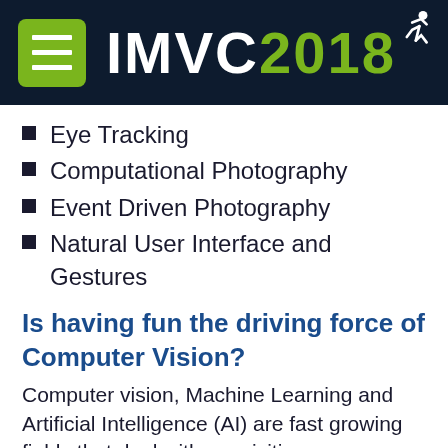IMVC2018
Eye Tracking
Computational Photography
Event Driven Photography
Natural User Interface and Gestures
Is having fun the driving force of Computer Vision?
Computer vision, Machine Learning and Artificial Intelligence (AI) are fast growing fields that deal with acquisition, enhancement, analysis, transition and understanding of visual data.
In the last two decades the driving force